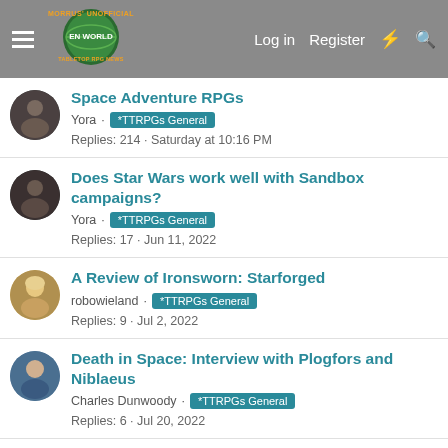Morrus' Unofficial Tabletop RPG News — Log in | Register
Space Adventure RPGs — Yora · *TTRPGs General — Replies: 214 · Saturday at 10:16 PM
Does Star Wars work well with Sandbox campaigns? — Yora · *TTRPGs General — Replies: 17 · Jun 11, 2022
A Review of Ironsworn: Starforged — robowieland · *TTRPGs General — Replies: 9 · Jul 2, 2022
Death in Space: Interview with Plogfors and Niblaeus — Charles Dunwoody · *TTRPGs General — Replies: 6 · Jul 20, 2022